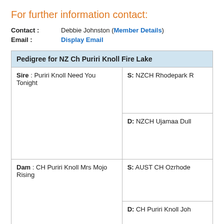For further information contact:
Contact : Debbie Johnston (Member Details)
Email : Display Email
| Pedigree for NZ Ch Puriri Knoll Fire Lake |  |
| --- | --- |
| Sire : Puriri Knoll Need You Tonight | S: NZCH Rhodepark R |
|  | D: NZCH Ujamaa Dull |
| Dam : CH Puriri Knoll Mrs Mojo Rising | S: AUST CH Ozrhode |
|  | D: CH Puriri Knoll Joh |
Results for 2021